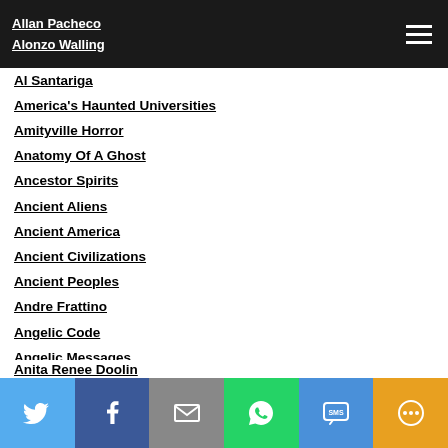Allan Pacheco
Alonzo Walling
Al Santariga
America's Haunted Universities
Amityville Horror
Anatomy Of A Ghost
Ancestor Spirits
Ancient Aliens
Ancient America
Ancient Civilizations
Ancient Peoples
Andre Frattino
Angelic Code
Angelic Messages
Animal Spirits
Anita Jo Intenzo
Anita Renee Doolin (partial)